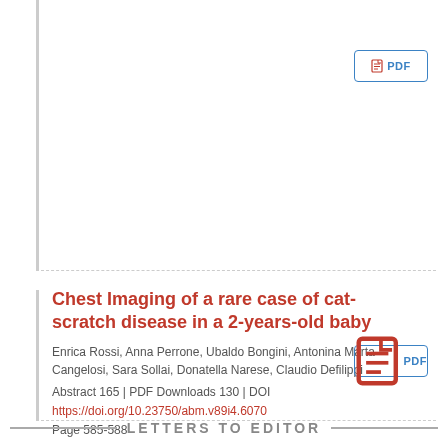[Figure (other): PDF download button (top right)]
Chest Imaging of a rare case of cat-scratch disease in a 2-years-old baby
Enrica Rossi, Anna Perrone, Ubaldo Bongini, Antonina Marta Cangelosi, Sara Sollai, Donatella Narese, Claudio Defilippi
Abstract 165 | PDF Downloads 130 | DOI https://doi.org/10.23750/abm.v89i4.6070
Page 585-588
[Figure (other): PDF download button (bottom right)]
LETTERS TO EDITOR